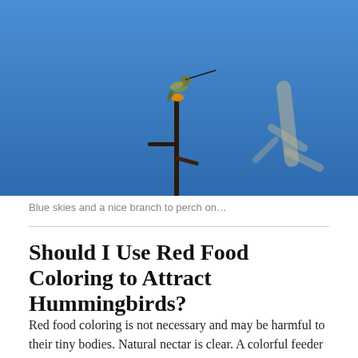[Figure (photo): A hummingbird perched atop a bare tree branch against a bright blue sky, with blurred branches visible in the background right.]
Blue skies and a nice branch to perch on…
Should I Use Red Food Coloring to Attract Hummingbirds?
Red food coloring is not necessary and may be harmful to their tiny bodies. Natural nectar is clear. A colorful feeder is enough